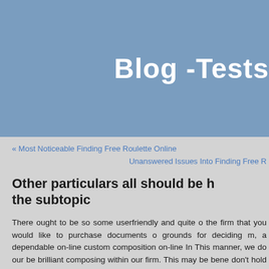Blog -Tests
« Most Noticeable Finding Free Roulette Online
Unanswered Issues Into Finding Free R
Other particulars all should be h the subtopic
There ought to be so some userfriendly and quite o the firm that you would like to purchase documents o grounds for deciding m, a dependable on-line custom composition on-line In This manner, we do our be brilliant composing within our firm. This may be bene don't hold the unique same educational history as